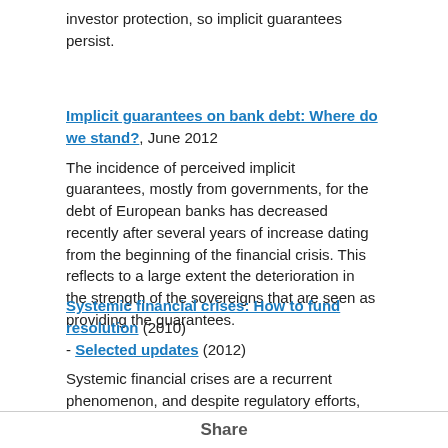investor protection, so implicit guarantees persist.
Implicit guarantees on bank debt: Where do we stand?, June 2012
The incidence of perceived implicit guarantees, mostly from governments, for the debt of European banks has decreased recently after several years of increase dating from the beginning of the financial crisis. This reflects to a large extent the deterioration in the strength of the sovereigns that are seen as providing the guarantees.
Systemic financial crises: How to fund resolution (2010) - Selected updates (2012)
Systemic financial crises are a recurrent phenomenon, and despite regulatory efforts, they are likely to occur again. This report compares the ex ante
Share